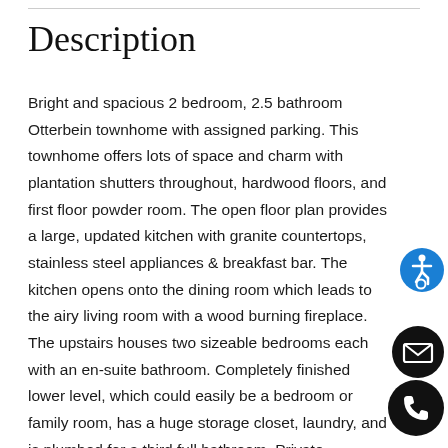Description
Bright and spacious 2 bedroom, 2.5 bathroom Otterbein townhome with assigned parking. This townhome offers lots of space and charm with plantation shutters throughout, hardwood floors, and first floor powder room. The open floor plan provides a large, updated kitchen with granite countertops, stainless steel appliances & breakfast bar. The kitchen opens onto the dining room which leads to the airy living room with a wood burning fireplace. The upstairs houses two sizeable bedrooms each with an en-suite bathroom. Completely finished lower level, which could easily be a bedroom or family room, has a huge storage closet, laundry, and is plumbed for a third full bathroom. Private courtyard perfect for backyard grilling. The home has also been thoughtfully maintained with plenty of recent updates including a new roof (2017), chimney liner (2017), refrigerator (2019), and hot water heater (2020). The location cannot be beat being just steps from the Inner Harbor, Federal Hill shops and restaurants
[Figure (other): Blue circle accessibility icon (wheelchair person symbol)]
[Figure (other): Black circle email/envelope icon]
[Figure (other): Black circle phone icon]